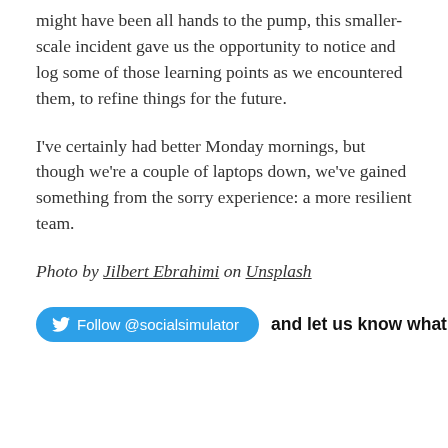might have been all hands to the pump, this smaller-scale incident gave us the opportunity to notice and log some of those learning points as we encountered them, to refine things for the future.
I've certainly had better Monday mornings, but though we're a couple of laptops down, we've gained something from the sorry experience: a more resilient team.
Photo by Jilbert Ebrahimi on Unsplash
[Figure (other): Twitter follow button with @socialsimulator handle and text 'and let us know what you think']